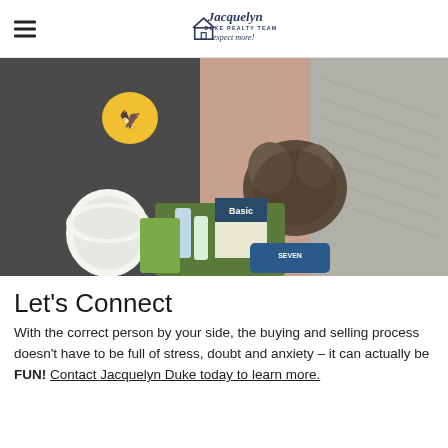Jacquelyn Duke Realty Team — expect more!
[Figure (photo): Two people standing together holding a fluffy dark cat and a basket of household supplies including paper towels, cleaning products, and a box of Basic items.]
Let's Connect
With the correct person by your side, the buying and selling process doesn't have to be full of stress, doubt and anxiety – it can actually be FUN! Contact Jacquelyn Duke today to learn more.